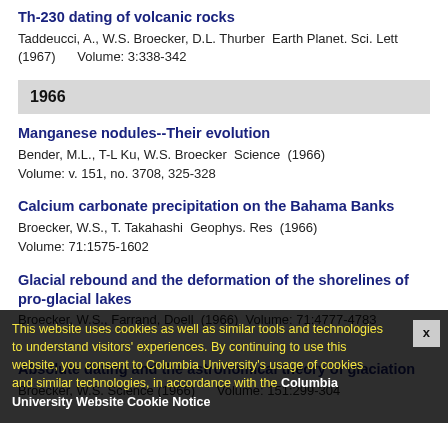Th-230 dating of volcanic rocks
Taddeucci, A., W.S. Broecker, D.L. Thurber  Earth Planet. Sci. Lett (1967)      Volume: 3:338-342
1966
Manganese nodules--Their evolution
Bender, M.L., T-L Ku, W.S. Broecker  Science  (1966)
Volume: v. 151, no. 3708, 325-328
Calcium carbonate precipitation on the Bahama Banks
Broecker, W.S., T. Takahashi  Geophys. Res  (1966)
Volume: 71:1575-1602
Glacial rebound and the deformation of the shorelines of pro-glacial lakes
Broecker, W.S., Farrand, Doell  (1966)  Volume: 71:4777-4783
Absolute dating and the astronomical theory of glaciation
Broecker, W.S.  Science  (1966)      Volume: 151:299-304
This website uses cookies as well as similar tools and technologies to understand visitors' experiences. By continuing to use this website, you consent to Columbia University's usage of cookies and similar technologies, in accordance with the Columbia University Website Cookie Notice